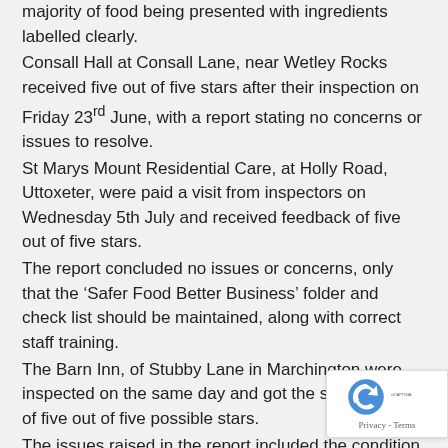majority of food being presented with ingredients labelled clearly.
Consall Hall at Consall Lane, near Wetley Rocks received five out of five stars after their inspection on Friday 23rd June, with a report stating no concerns or issues to resolve.
St Marys Mount Residential Care, at Holly Road, Uttoxeter, were paid a visit from inspectors on Wednesday 5th July and received feedback of five out of five stars.
The report concluded no issues or concerns, only that the ‘Safer Food Better Business’ folder and check list should be maintained, along with correct staff training.
The Barn Inn, of Stubby Lane in Marchington were inspected on the same day and got the same result of five out of five possible stars.
The issues raised in the report included the condition of the ice machine, with a note to clean the inside, the flaps and underside, immediately.
There was also blood stains in the bottom of a freezer where raw meat had been stored.